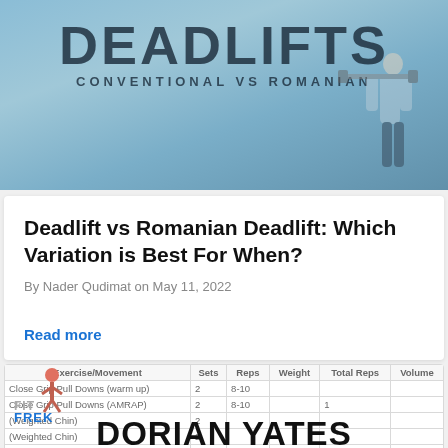[Figure (photo): Hero banner image with 'DEADLIFTS CONVENTIONAL VS ROMANIAN' text overlay on a blue-toned gym background with a person holding a barbell]
Deadlift vs Romanian Deadlift: Which Variation is Best For When?
By Nader Qudimat on May 11, 2022
Read more
[Figure (table-as-image): FitFrek logo overlaid on a workout table showing Exercise, Sets, Reps, Weight, Total Reps, Volume columns with rows including Close Grip Pull Downs warm up, Close Grip Pull Downs AMRAP, Weighted Chin, Weighted Chin, Best Over Row warm up. Overlaid with large DORIAN YATES text and 1987-93 PROGRAM text at bottom.]
| Exercise/Movement | Sets | Reps | Weight | Total Reps | Volume |
| --- | --- | --- | --- | --- | --- |
| Close Grip Pull Downs (warm up) | 2 | 8-10 |  |  |  |
| Close Grip Pull Downs (AMRAP) | 2 | 8-10 |  | 1 |  |
| (Weighted Chin) | 2 |  |  |  |  |
| (Weighted Chin) | 2 |  |  |  |  |
| (Best Over Row) (warm up) | 2 | (8-10) |  | 1 |  |